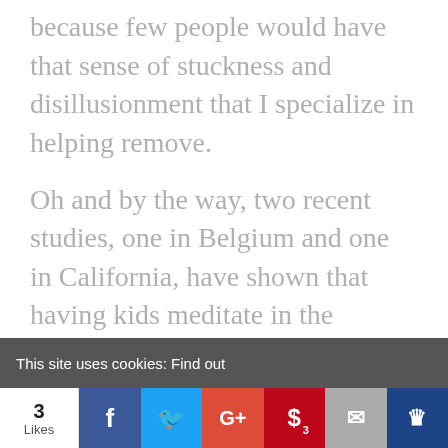because few people would have that sense of stuckness and disillusionment that I specialize in helping remove.
Oh and by the way, two recent studies, one in Belgium and one in California, have shown that having kids meditate in the morning reduces absenteeism, bullying and improves attention levels!
This site uses cookies: Find out
3 Likes | Facebook | Twitter | Google+ | Pinterest 3 | Email | [crown icon]